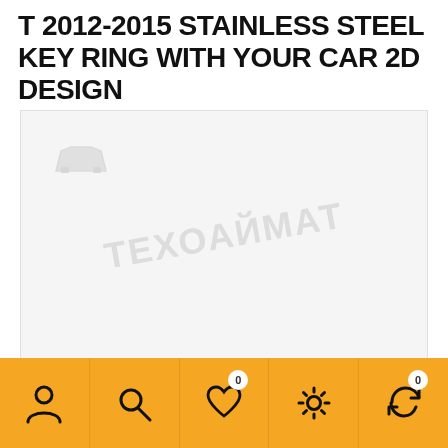T 2012-2015 STAINLESS STEEL KEY RING WITH YOUR CAR 2D DESIGN
[Figure (photo): Product image area with watermark text 'ТЕХОАЙМАТ' on light gray background]
Navigation bar with icons: user/account, search, wishlist (0), settings/gear, refresh/sync (0)